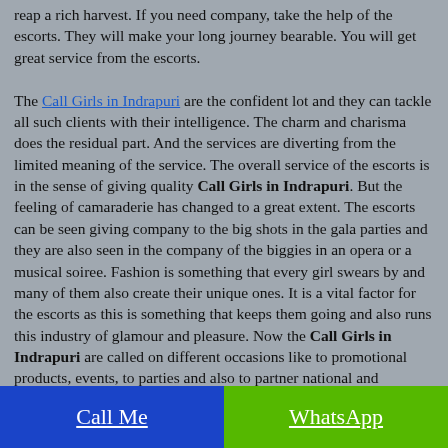reap a rich harvest. If you need company, take the help of the escorts. They will make your long journey bearable. You will get great service from the escorts.

The Call Girls in Indrapuri are the confident lot and they can tackle all such clients with their intelligence. The charm and charisma does the residual part. And the services are diverting from the limited meaning of the service. The overall service of the escorts is in the sense of giving quality Call Girls in Indrapuri. But the feeling of camaraderie has changed to a great extent. The escorts can be seen giving company to the big shots in the gala parties and they are also seen in the company of the biggies in an opera or a musical soiree. Fashion is something that every girl swears by and many of them also create their unique ones. It is a vital factor for the escorts as this is something that keeps them going and also runs this industry of glamour and pleasure. Now the Call Girls in Indrapuri are called on different occasions like to promotional products, events, to parties and also to partner national and international client. All these occasions call for particular fashion style. There is
Call Me | WhatsApp